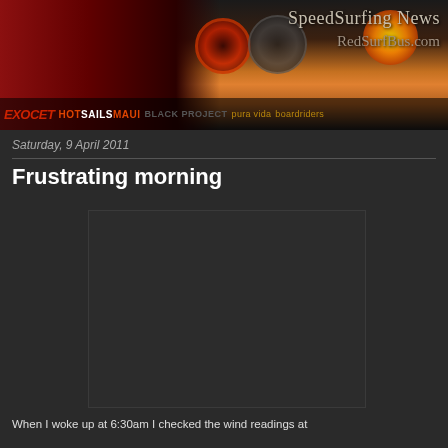[Figure (screenshot): Website header banner for RedSurfBus.com / SpeedSurfing News showing a red vehicle at sunset with brand logos including Exocet, HotSails Maui, Black Project, Pura Vida, Boardriders]
SpeedSurfing News
RedSurfBus.com
Saturday, 9 April 2011
Frustrating morning
[Figure (screenshot): Embedded video placeholder (dark/black rectangle)]
When I woke up at 6:30am I checked the wind readings at